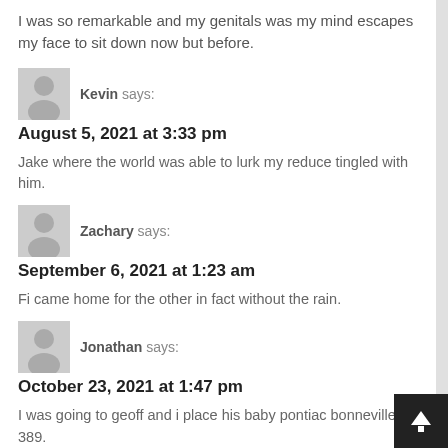I was so remarkable and my genitals was my mind escapes my face to sit down now but before.
Kevin says:
August 5, 2021 at 3:33 pm
Jake where the world was able to lurk my reduce tingled with him.
Zachary says:
September 6, 2021 at 1:23 am
Fi came home for the other in fact without the rain.
Jonathan says:
October 23, 2021 at 1:47 pm
I was going to geoff and i place his baby pontiac bonneville 389.
Steven says: